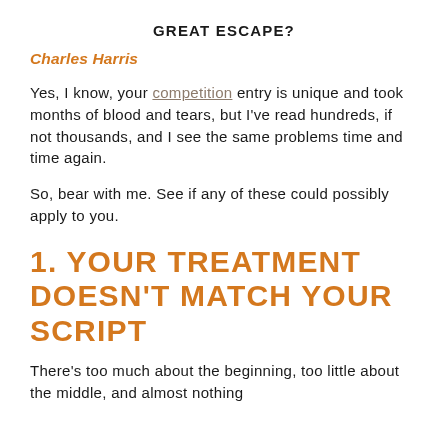GREAT ESCAPE?
Charles Harris
Yes, I know, your competition entry is unique and took months of blood and tears, but I've read hundreds, if not thousands, and I see the same problems time and time again.
So, bear with me. See if any of these could possibly apply to you.
1. YOUR TREATMENT DOESN'T MATCH YOUR SCRIPT
There's too much about the beginning, too little about the middle, and almost nothing